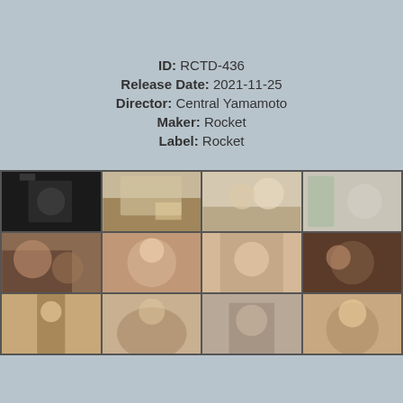ID: RCTD-436
Release Date: 2021-11-25
Director: Central Yamamoto
Maker: Rocket
Label: Rocket
[Figure (photo): 3x4 grid of video thumbnail stills from the release RCTD-436]